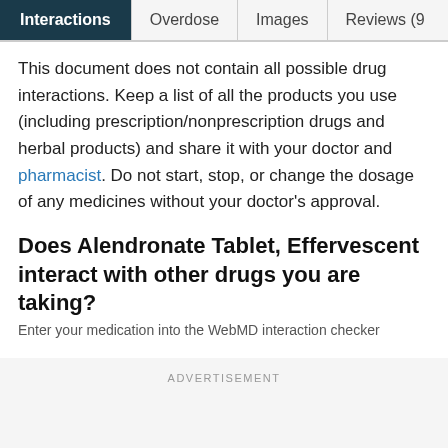Interactions | Overdose | Images | Reviews (9
This document does not contain all possible drug interactions. Keep a list of all the products you use (including prescription/nonprescription drugs and herbal products) and share it with your doctor and pharmacist. Do not start, stop, or change the dosage of any medicines without your doctor’s approval.
Does Alendronate Tablet, Effervescent interact with other drugs you are taking?
Enter your medication into the WebMD interaction checker
ADVERTISEMENT